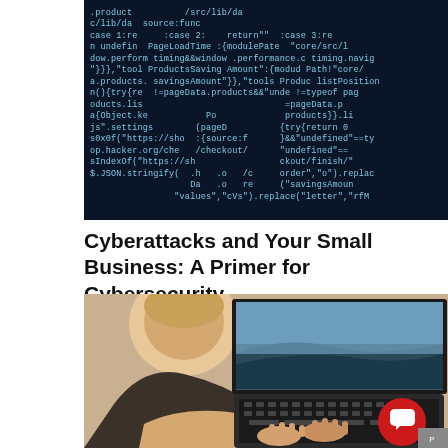[Figure (screenshot): Dark blue background with white/light blue programming code text arranged to form a skull or face shape, showing JavaScript code snippets including case statements, PageLoadTime, ProductsSaving, savingsAmount, indexOf, JSON.stringify, etc.]
Cyberattacks and Your Small Business: A Primer for Cybersecurity
[Figure (photo): A person (seen from behind/side) with short blonde hair typing on a laptop keyboard. The laptop screen shows a scenic landscape image. A red circular chat button is visible in the lower right corner.]